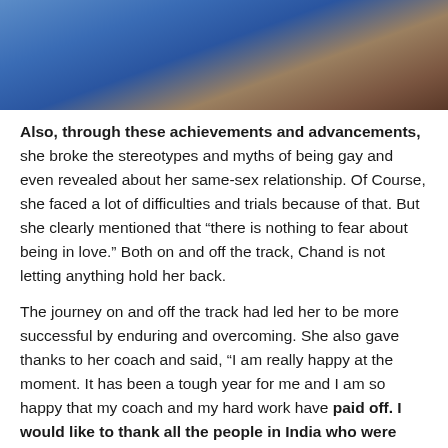[Figure (photo): Athlete wearing blue jersey, action shot, blurred background]
Also, through these achievements and advancements, she broke the stereotypes and myths of being gay and even revealed about her same-sex relationship. Of Course, she faced a lot of difficulties and trials because of that. But she clearly mentioned that “there is nothing to fear about being in love.” Both on and off the track, Chand is not letting anything hold her back.
The journey on and off the track had led her to be more successful by enduring and overcoming. She also gave thanks to her coach and said, “I am really happy at the moment. It has been a tough year for me and I am so happy that my coach and my hard work have paid off. I would like to thank all the people in India who were praying for me to win.”